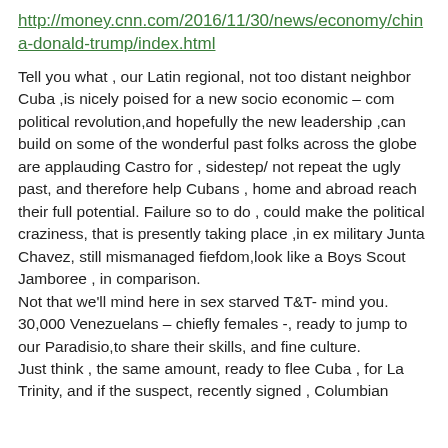http://money.cnn.com/2016/11/30/news/economy/china-donald-trump/index.html
Tell you what , our Latin regional, not too distant neighbor Cuba ,is nicely poised for a new socio economic – com political revolution,and hopefully the new leadership ,can build on some of the wonderful past folks across the globe are applauding Castro for , sidestep/ not repeat the ugly past, and therefore help Cubans , home and abroad reach their full potential. Failure so to do , could make the political craziness, that is presently taking place ,in ex military Junta Chavez, still mismanaged fiefdom,look like a Boys Scout Jamboree , in comparison.
Not that we'll mind here in sex starved T&T- mind you. 30,000 Venezuelans – chiefly females -, ready to jump to our Paradisio,to share their skills, and fine culture.
Just think , the same amount, ready to flee Cuba , for La Trinity, and if the suspect, recently signed , Columbian